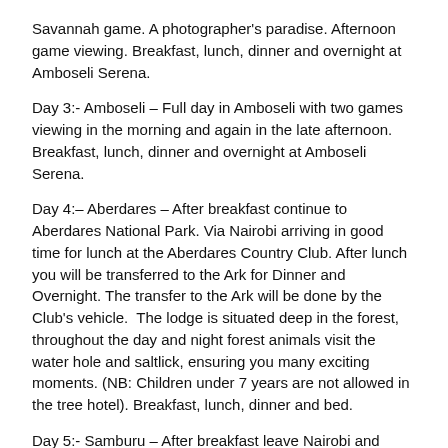Savannah game. A photographer's paradise. Afternoon game viewing. Breakfast, lunch, dinner and overnight at Amboseli Serena.
Day 3:- Amboseli – Full day in Amboseli with two games viewing in the morning and again in the late afternoon. Breakfast, lunch, dinner and overnight at Amboseli Serena.
Day 4:– Aberdares – After breakfast continue to Aberdares National Park. Via Nairobi arriving in good time for lunch at the Aberdares Country Club. After lunch you will be transferred to the Ark for Dinner and Overnight. The transfer to the Ark will be done by the Club's vehicle.  The lodge is situated deep in the forest, throughout the day and night forest animals visit the water hole and saltlick, ensuring you many exciting moments. (NB: Children under 7 years are not allowed in the tree hotel). Breakfast, lunch, dinner and bed.
Day 5:- Samburu – After breakfast leave Nairobi and proceed to Samburu National Reserve arriving in time for lunch at your campsite. After siesta, enjoy an afternoon game drive in this unique wildlife paradise. Breakfast, lunch, dinner and overnight at